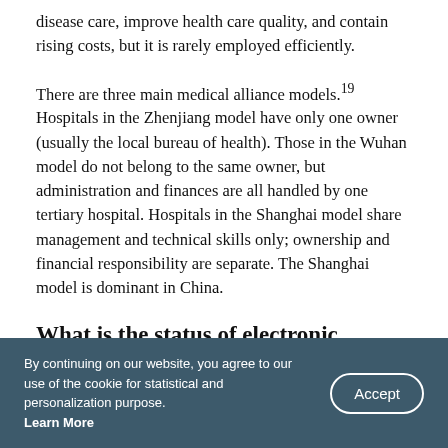disease care, improve health care quality, and contain rising costs, but it is rarely employed efficiently.
There are three main medical alliance models.19 Hospitals in the Zhenjiang model have only one owner (usually the local bureau of health). Those in the Wuhan model do not belong to the same owner, but administration and finances are all handled by one tertiary hospital. Hospitals in the Shanghai model share management and technical skills only; ownership and financial responsibility are separate. The Shanghai model is dominant in China.
What is the status of electronic
By continuing on our website, you agree to our use of the cookie for statistical and personalization purpose. Learn More